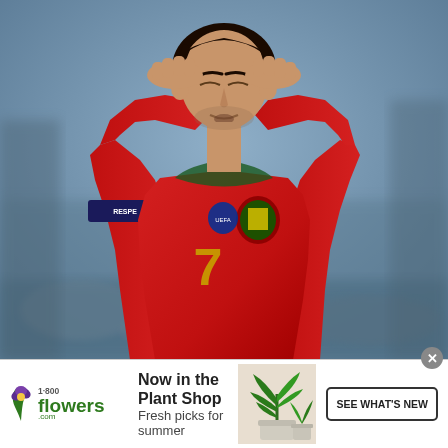[Figure (photo): A soccer player wearing a red Portugal national team jersey with the number 7 and captain's armband, hands clasped on top of head in a gesture of disappointment, with a blurred stadium background.]
[Figure (photo): Advertisement banner for 1-800-Flowers.com showing a potted tropical plant, with the text 'Now in the Plant Shop' and 'Fresh picks for summer', and a 'SEE WHAT'S NEW' call-to-action button.]